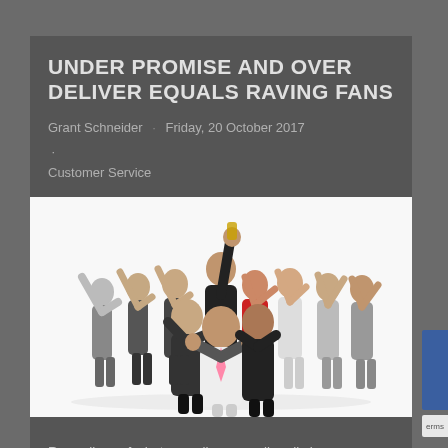UNDER PROMISE AND OVER DELIVER EQUALS RAVING FANS
Grant Schneider · Friday, 20 October 2017 · Customer Service
[Figure (photo): Group of enthusiastic business people celebrating, with thumbs up and raised arms on a white background]
Regardless of what we sell we are all really in a